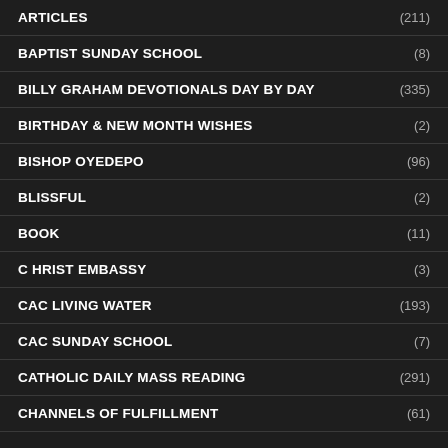ARTICLES (211)
BAPTIST SUNDAY SCHOOL (8)
BILLY GRAHAM DEVOTIONALS DAY BY DAY (335)
BIRTHDAY & NEW MONTH WISHES (2)
BISHOP OYEDEPO (96)
BLISSFUL (2)
BOOK (11)
C HRIST EMBASSY (3)
CAC LIVING WATER (193)
CAC SUNDAY SCHOOL (7)
CATHOLIC DAILY MASS READING (291)
CHANNELS OF FULFILLMENT (61)